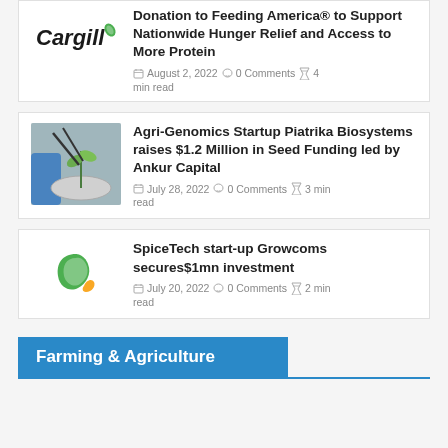[Figure (logo): Cargill logo in bold italic text with green leaf accent]
Donation to Feeding America® to Support Nationwide Hunger Relief and Access to More Protein
August 2, 2022  0 Comments  4 min read
[Figure (photo): A gloved hand holding a small plant seedling with tweezers over a petri dish]
Agri-Genomics Startup Piatrika Biosystems raises $1.2 Million in Seed Funding led by Ankur Capital
July 28, 2022  0 Comments  3 min read
[Figure (logo): Growcoms green leaf logo icon]
SpiceTech start-up Growcoms secures$1mn investment
July 20, 2022  0 Comments  2 min read
Farming & Agriculture